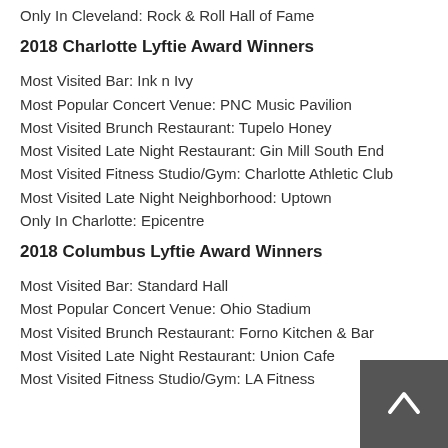Only In Cleveland: Rock & Roll Hall of Fame
2018 Charlotte Lyftie Award Winners
Most Visited Bar: Ink n Ivy
Most Popular Concert Venue: PNC Music Pavilion
Most Visited Brunch Restaurant: Tupelo Honey
Most Visited Late Night Restaurant: Gin Mill South End
Most Visited Fitness Studio/Gym: Charlotte Athletic Club
Most Visited Late Night Neighborhood: Uptown
Only In Charlotte: Epicentre
2018 Columbus Lyftie Award Winners
Most Visited Bar: Standard Hall
Most Popular Concert Venue: Ohio Stadium
Most Visited Brunch Restaurant: Forno Kitchen & Bar
Most Visited Late Night Restaurant: Union Cafe
Most Visited Fitness Studio/Gym: LA Fitness